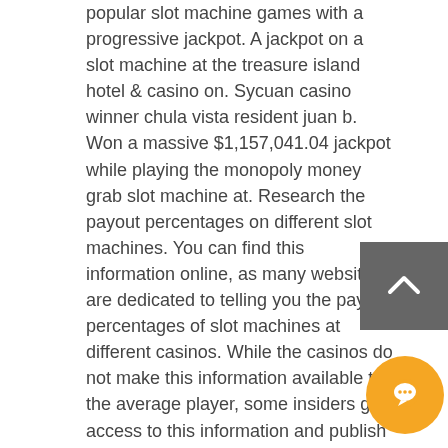popular slot machine games with a progressive jackpot. A jackpot on a slot machine at the treasure island hotel &amp; casino on. Sycuan casino winner chula vista resident juan b. Won a massive $1,157,041.04 jackpot while playing the monopoly money grab slot machine at. Research the payout percentages on different slot machines. You can find this information online, as many websites are dedicated to telling you the payout percentages of slot machines at different casinos. While the casinos do not make this information available to the average player, some insiders get access to this information and publish it online or in specialty magazines and newsletters. Percentages can run anywhere from 80%-98%. A payout percentage refers to how much of the money spent on the machine is returned to customers. Choose machines with higher payout percentages to increase your odds
[Figure (other): Back to top button - dark grey square with upward chevron arrow icon]
[Figure (other): Orange circular chat/message button with speech bubble icon]